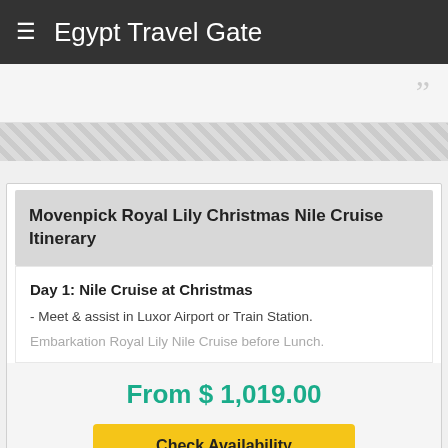≡ Egypt Travel Gate
Movenpick Royal Lily Christmas Nile Cruise Itinerary
Day 1: Nile Cruise at Christmas
- Meet & assist in Luxor Airport or Train Station.
Embarkation Royal Lily Nile Cruise before Lunch.
From $ 1,019.00
Check Availability